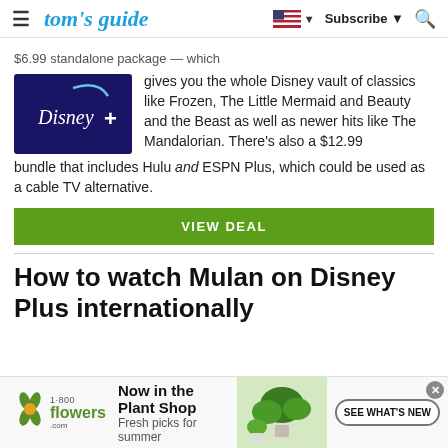tom's guide | Subscribe
$6.99 standalone package — which gives you the whole Disney vault of classics like Frozen, The Little Mermaid and Beauty and the Beast as well as newer hits like The Mandalorian. There's also a $12.99 bundle that includes Hulu and ESPN Plus, which could be used as a cable TV alternative.
[Figure (logo): Disney+ logo on dark blue/purple background]
VIEW DEAL
How to watch Mulan on Disney Plus internationally
[Figure (photo): 1800flowers.com advertisement - Now in the Plant Shop, Fresh picks for summer, SEE WHAT'S NEW button, plant image]